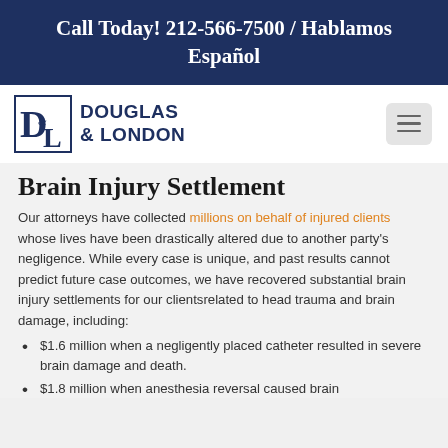Call Today! 212-566-7500 / Hablamos Español
[Figure (logo): Douglas & London law firm logo with stylized D&L monogram and firm name]
Brain Injury Settlement
Our attorneys have collected millions on behalf of injured clients whose lives have been drastically altered due to another party's negligence. While every case is unique, and past results cannot predict future case outcomes, we have recovered substantial brain injury settlements for our clients related to head trauma and brain damage, including:
$1.6 million when a negligently placed catheter resulted in severe brain damage and death.
$1.8 million when anesthesia reversal caused brain